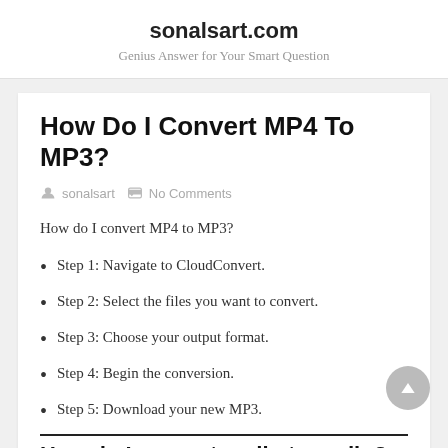sonalsart.com
Genius Answer for Your Smart Question
How Do I Convert MP4 To MP3?
sonalsart   No Comments
How do I convert MP4 to MP3?
Step 1: Navigate to CloudConvert.
Step 2: Select the files you want to convert.
Step 3: Choose your output format.
Step 4: Begin the conversion.
Step 5: Download your new MP3.
How do I convert audio to audio?